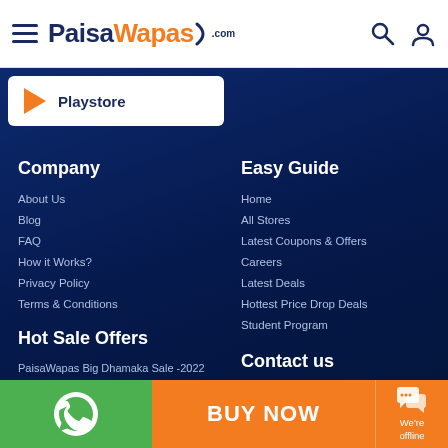PaisaWapas.com
Playstore
Company
About Us
Blog
FAQ
How it Works?
Privacy Policy
Terms & Conditions
Easy Guide
Home
All Stores
Latest Coupons & Offers
Careers
Latest Deals
Hottest Price Drop Deals
Student Program
Hot Sale Offers
PaisaWapas Big Dhamaka Sale -2022
Amazon Great Indian Festival Sale - 2022
Contact us
+91 9741266796
cs@paisawapas.com
BUY NOW
We're offline